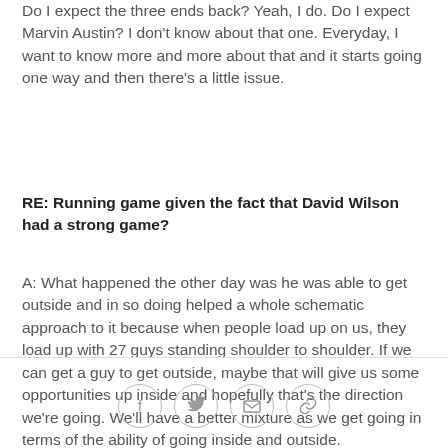Do I expect the three ends back? Yeah, I do. Do I expect Marvin Austin? I don't know about that one. Everyday, I want to know more and more about that and it starts going one way and then there's a little issue.
RE: Running game given the fact that David Wilson had a strong game?
A: What happened the other day was he was able to get outside and in so doing helped a whole schematic approach to it because when people load up on us, they load up with 27 guys standing shoulder to shoulder. If we can get a guy to get outside, maybe that will give us some opportunities up inside and hopefully that's the direction we're going. We'll have a better mixture as we get going in terms of the ability of going inside and outside.
[Figure (other): Social sharing icons: Facebook, Twitter, Email, Link]